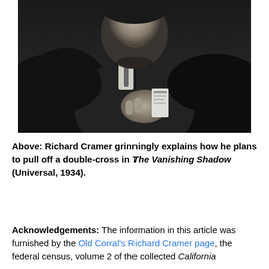[Figure (photo): Black and white photo of Richard Cramer grinning and holding something in his hand, wearing a dark suit]
Above: Richard Cramer grinningly explains how he plans to pull off a double-cross in The Vanishing Shadow (Universal, 1934).
Acknowledgements: The information in this article was furnished by the Old Corral's Richard Cramer page, the federal census, volume 2 of the collected California